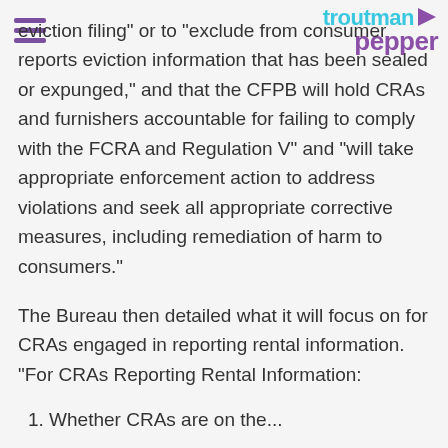troutman pepper
eviction filing” or to “exclude from consumer reports eviction information that has been sealed or expunged,” and that the CFPB will hold CRAs and furnishers accountable for failing to comply with the FCRA and Regulation V” and “will take appropriate enforcement action to address violations and seek all appropriate corrective measures, including remediation of harm to consumers.”
The Bureau then detailed what it will focus on for CRAs engaged in reporting rental information. “For CRAs Reporting Rental Information:
1. Whether CRAs are on the...